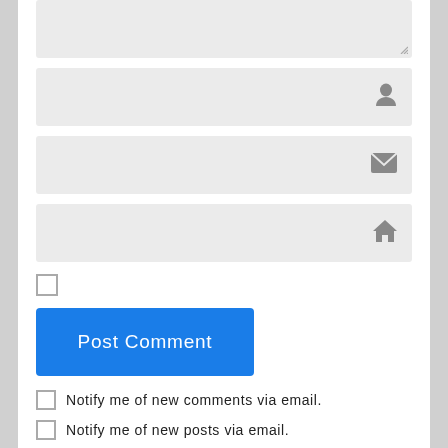[Figure (screenshot): Comment form textarea (empty, gray background) with resize handle in bottom right corner]
[Figure (screenshot): Text input field with a person/user icon on the right side]
[Figure (screenshot): Text input field with an envelope/email icon on the right side]
[Figure (screenshot): Text input field with a house/home icon on the right side]
[Figure (screenshot): Empty checkbox (unchecked)]
[Figure (screenshot): Blue 'Post Comment' button]
Notify me of new comments via email.
Notify me of new posts via email.